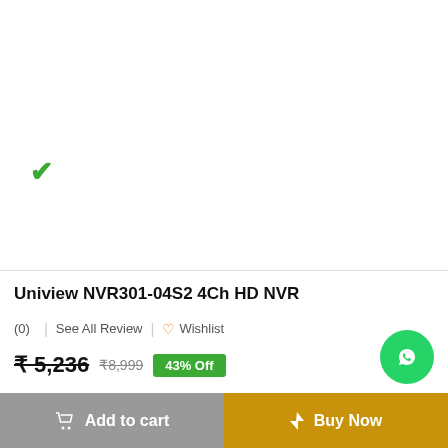[Figure (other): White product image area with a green checkmark in lower left]
Uniview NVR301-04S2 4Ch HD NVR
(0)  See All Review  ♡ Wishlist
₹ 5,236  ₹8,999  43% Off
[Figure (other): Green circular WhatsApp button with phone/chat icon]
Add to cart
Buy Now